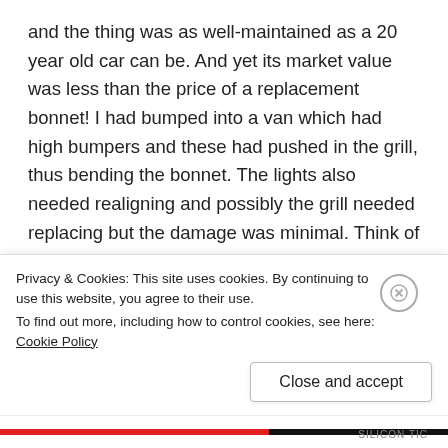and the thing was as well-maintained as a 20 year old car can be. And yet its market value was less than the price of a replacement bonnet! I had bumped into a van which had high bumpers and these had pushed in the grill, thus bending the bonnet. The lights also needed realigning and possibly the grill needed replacing but the damage was minimal. Think of all the complexity of a car like that, a system that tells you when it needs servicing, air-bags, h-plane adjustable seats, sun-roof, electric windows and a beautifully reliable and powerful engine. And yet its total value was less than a basic piece of pressed steel which probably cost all of £20 to make. Luckily, because my car
Privacy & Cookies: This site uses cookies. By continuing to use this website, you agree to their use.
To find out more, including how to control cookies, see here: Cookie Policy
Close and accept
SILICON TIC...